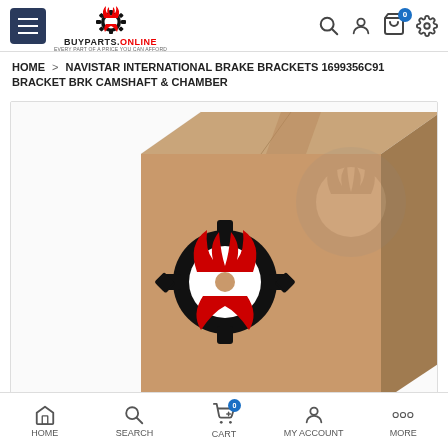BUYPARTS.ONLINE — navigation header with hamburger menu, logo, search, account, cart, and settings icons
HOME > NAVISTAR INTERNATIONAL BRAKE BRACKETS 1699356C91 BRACKET BRK CAMSHAFT & CHAMBER
[Figure (photo): Product photo showing a cardboard shipping box with the BuyParts.Online logo (gear with devil horns/flames motif in red and black) printed on the front face.]
HOME   SEARCH   CART   MY ACCOUNT   MORE